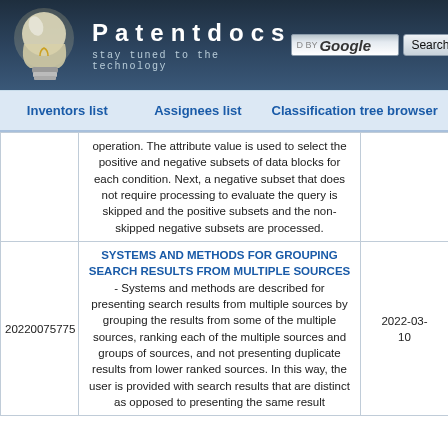[Figure (logo): Patentdocs website header with lightbulb logo, site name 'Patentdocs', subtitle 'stay tuned to the technology', and Google search bar]
Inventors list | Assignees list | Classification tree browser
|  | Description | Date |
| --- | --- | --- |
|  | operation. The attribute value is used to select the positive and negative subsets of data blocks for each condition. Next, a negative subset that does not require processing to evaluate the query is skipped and the positive subsets and the non-skipped negative subsets are processed. |  |
| 20220075775 | SYSTEMS AND METHODS FOR GROUPING SEARCH RESULTS FROM MULTIPLE SOURCES - Systems and methods are described for presenting search results from multiple sources by grouping the results from some of the multiple sources, ranking each of the multiple sources and groups of sources, and not presenting duplicate results from lower ranked sources. In this way, the user is provided with search results that are distinct as opposed to presenting the same result | 2022-03-10 |